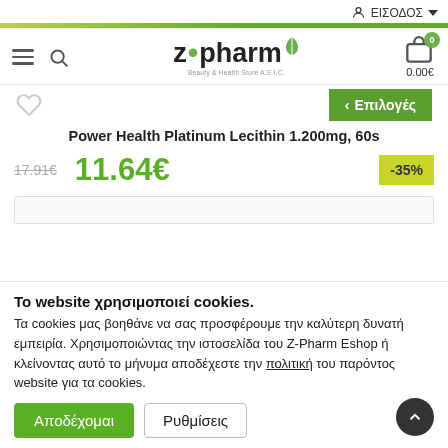ΕΙΣΟΔΟΣ
[Figure (logo): z·pharm Beauty & Health Store A.E.I.C. logo with green leaf]
Power Health Platinum Lecithin 1.200mg, 60s
17.91€  11.64€  -35%
Επιλογές
Το website χρησιμοποιεί cookies.
Τα cookies μας βοηθάνε να σας προσφέρουμε την καλύτερη δυνατή εμπειρία. Χρησιμοποιώντας την ιστοσελίδα του Z-Pharm Eshop ή κλείνοντας αυτό το μήνυμα αποδέχεστε την πολιτική του παρόντος website για τα cookies.
Αποδέχομαι   Ρυθμίσεις